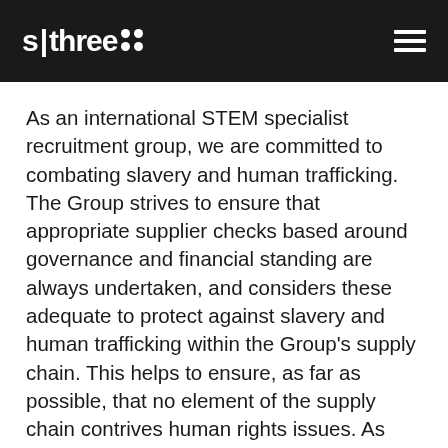s|three
As an international STEM specialist recruitment group, we are committed to combating slavery and human trafficking. The Group strives to ensure that appropriate supplier checks based around governance and financial standing are always undertaken, and considers these adequate to protect against slavery and human trafficking within the Group's supply chain. This helps to ensure, as far as possible, that no element of the supply chain contrives human rights issues. As such, we believe that there are no such issues known to be impacting the Group's business, based on both global and localised legislation and the Directors do not consider there to be a risk of